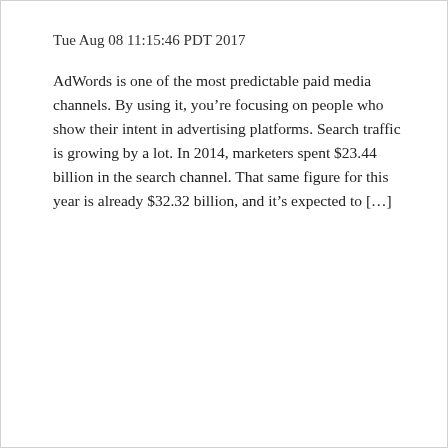Tue Aug 08 11:15:46 PDT 2017
AdWords is one of the most predictable paid media channels. By using it, you’re focusing on people who show their intent in advertising platforms. Search traffic is growing by a lot. In 2014, marketers spent $23.44 billion in the search channel. That same figure for this year is already $32.32 billion, and it’s expected to […]